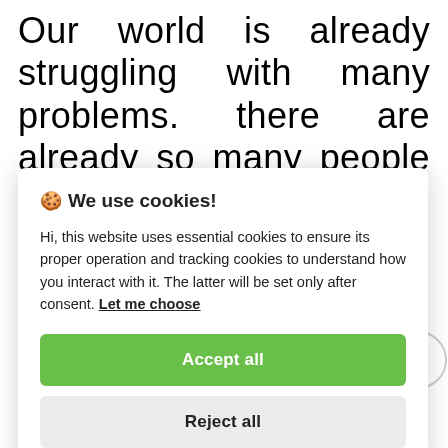Our world is already struggling with many problems. there are already so many people suffering due to wars, conflicts, and violence. Let's not add waste to our list of problems. And the next time when we want to throw out
🍪 We use cookies!
Hi, this website uses essential cookies to ensure its proper operation and tracking cookies to understand how you interact with it. The latter will be set only after consent. Let me choose
Accept all
Reject all